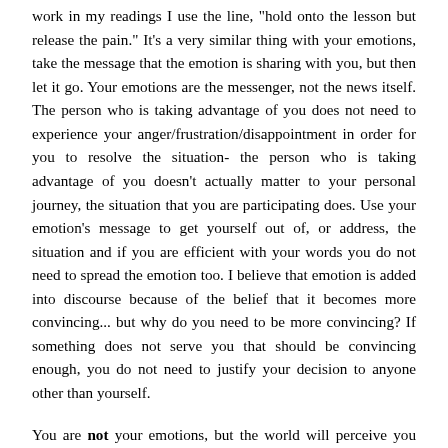work in my readings I use the line, "hold onto the lesson but release the pain." It's a very similar thing with your emotions, take the message that the emotion is sharing with you, but then let it go. Your emotions are the messenger, not the news itself. The person who is taking advantage of you does not need to experience your anger/frustration/disappointment in order for you to resolve the situation- the person who is taking advantage of you doesn't actually matter to your personal journey, the situation that you are participating does. Use your emotion's message to get yourself out of, or address, the situation and if you are efficient with your words you do not need to spread the emotion too. I believe that emotion is added into discourse because of the belief that it becomes more convincing... but why do you need to be more convincing? If something does not serve you that should be convincing enough, you do not need to justify your decision to anyone other than yourself.
You are not your emotions, but the world will perceive you based upon your emotions (as well as your thoughts and